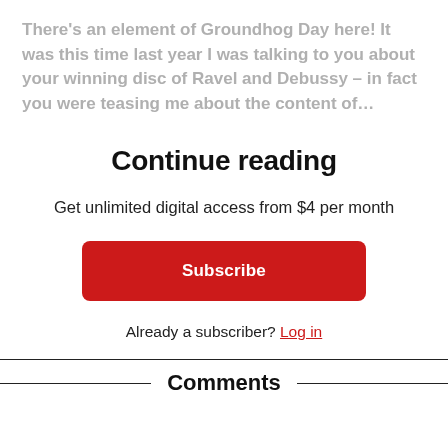There's an element of Groundhog Day here! It was this time last year I was talking to you about your winning disc of Ravel and Debussy – in fact you were teasing me about the content of…
Continue reading
Get unlimited digital access from $4 per month
Subscribe
Already a subscriber? Log in
Comments